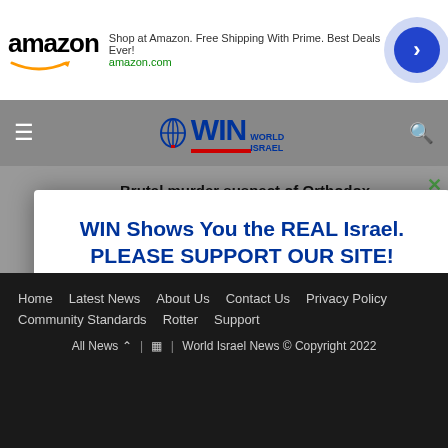[Figure (other): Amazon advertisement banner with logo, text 'Shop at Amazon. Free Shipping With Prime. Best Deals Ever!', amazon.com URL, and blue circular arrow button]
WIN World Israel News navigation bar with hamburger menu, WIN logo, and search icon
Brutal murder suspect of Orthodox Jewish man identified, on the run
WIN Shows You the REAL Israel. PLEASE SUPPORT OUR SITE!
OK!
No Thanks
Home | Latest News | About Us | Contact Us | Privacy Policy | Community Standards | Rotter | Support
All News ^ | RSS | World Israel News © Copyright 2022